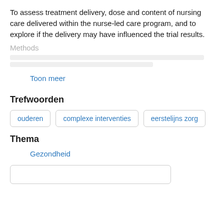To assess treatment delivery, dose and content of nursing care delivered within the nurse-led care program, and to explore if the delivery may have influenced the trial results.
Methods
Toon meer
Trefwoorden
ouderen
complexe interventies
eerstelijns zorg
Thema
Gezondheid